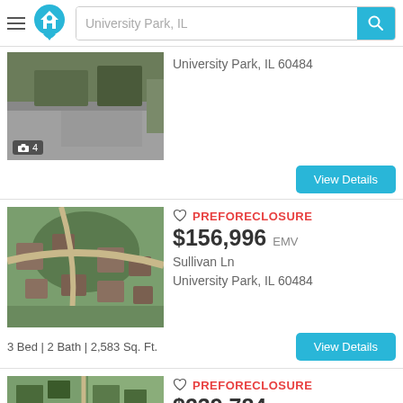[Figure (screenshot): Real estate website header with hamburger menu, home logo icon, search bar with 'University Park, IL' placeholder, and cyan search button]
[Figure (photo): Aerial/street view photo of a property in University Park, IL with photo count indicator showing 4 photos]
University Park, IL 60484
View Details
[Figure (photo): Aerial view of residential neighborhood in University Park, IL showing houses and streets from above]
PREFORECLOSURE
$156,996 EMV
Sullivan Ln
University Park, IL 60484
3 Bed | 2 Bath | 2,583 Sq. Ft.
View Details
[Figure (photo): Aerial view of residential property on Sandra Dr in University Park, IL]
PREFORECLOSURE
$239,784 EMV
Sandra Dr
University Park, IL 60484